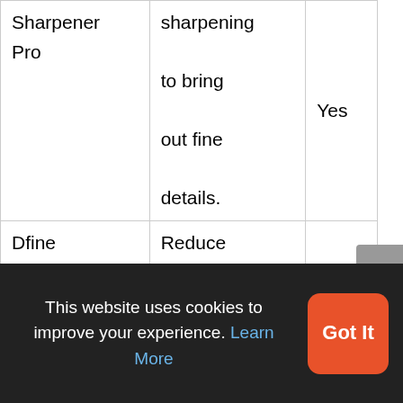|  |  |  |
| --- | --- | --- |
| Sharpener Pro | sharpening to bring out fine details. | Yes |
| Dfine | Reduce and remove image noise. |  |
The example assessment here reflects my
This website uses cookies to improve your experience. Learn More